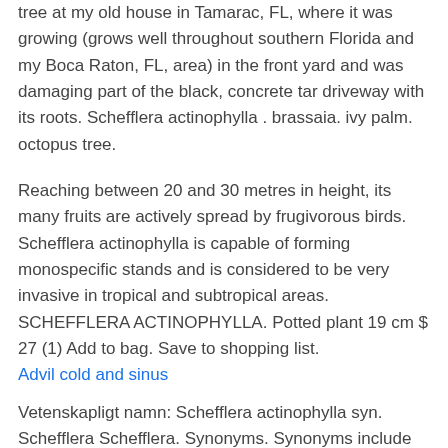tree at my old house in Tamarac, FL, where it was growing (grows well throughout southern Florida and my Boca Raton, FL, area) in the front yard and was damaging part of the black, concrete tar driveway with its roots. Schefflera actinophylla . brassaia. ivy palm. octopus tree.
Reaching between 20 and 30 metres in height, its many fruits are actively spread by frugivorous birds. Schefflera actinophylla is capable of forming monospecific stands and is considered to be very invasive in tropical and subtropical areas. SCHEFFLERA ACTINOPHYLLA. Potted plant 19 cm $ 27 (1) Add to bag. Save to shopping list. Advil cold and sinus
Vetenskapligt namn: Schefflera actinophylla syn. Schefflera. Schefflera. Synonyms. Synonyms include S.